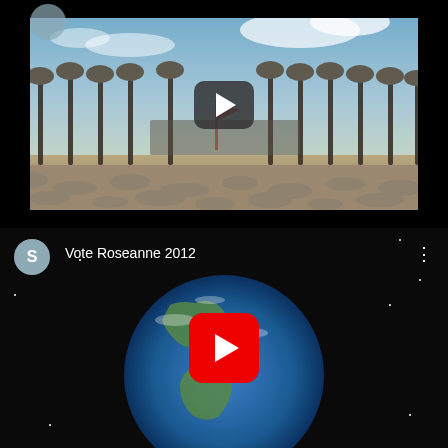[Figure (screenshot): YouTube-style video thumbnail showing rows of military rifles with helmets on top (battlefield cross), soldiers gathered in background under blue sky. Dark play button overlay in center. Partial avatar circle visible at top left.]
[Figure (screenshot): YouTube video card with title 'Vote Roseanne 2012', avatar circle with letter S on left, three-dot menu on right, thumbnail showing Earth from space with YouTube red play button overlay.]